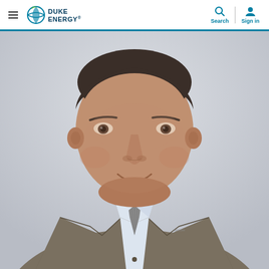Duke Energy — Search | Sign in navigation bar
[Figure (photo): Professional headshot of a middle-aged man wearing a grey-brown suit jacket, light blue dress shirt, and grey tie, photographed against a light grey background. The photo shows his face and upper torso in a close crop.]